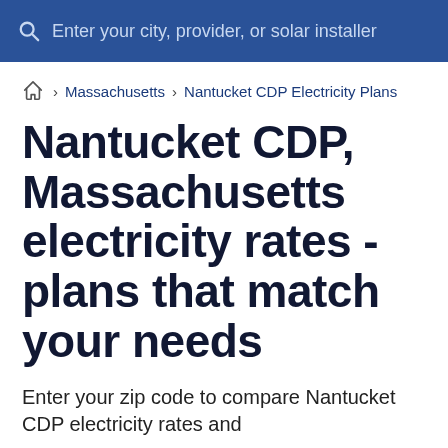Enter your city, provider, or solar installer
🏠 › Massachusetts › Nantucket CDP Electricity Plans
Nantucket CDP, Massachusetts electricity rates - plans that match your needs
Enter your zip code to compare Nantucket CDP electricity rates and